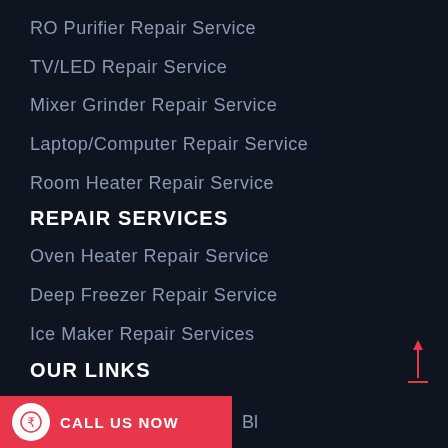RO Purifier Repair Service
TV/LED Repair Service
Mixer Grinder Repair Service
Laptop/Computer Repair Service
Room Heater Repair Service
REPAIR SERVICES
Oven Heater Repair Service
Deep Freezer Repair Service
Ice Maker Repair Services
OUR LINKS
Home
Services
Blog
CALL US NOW